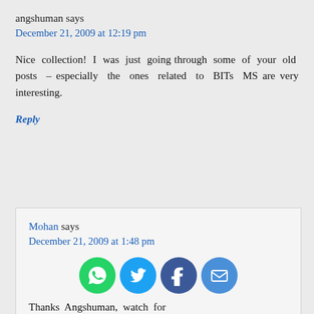angshuman says
December 21, 2009 at 12:19 pm
Nice collection! I was just going through some of your old posts – especially the ones related to BITs MS are very interesting.
Reply
Mohan says
December 21, 2009 at 1:48 pm
[Figure (infographic): Social share icons: WhatsApp (green circle), Twitter (blue circle), Facebook (dark blue circle), Email (blue circle)]
Thanks Angshuman, watch for